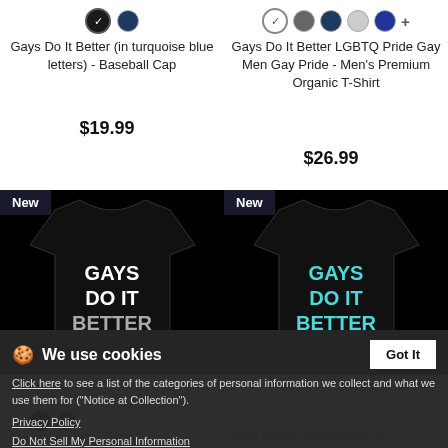[Figure (screenshot): Product listing page from a merchandise website showing LGBTQ pride apparel items with color swatches, product names, prices, and a cookie consent banner overlay.]
Gays Do It Better (in turquoise blue letters) - Baseball Cap
$19.99
Gays Do It Better LGBTQ Pride Gay Men Gay Pride - Men's Premium Organic T-Shirt
$26.99
New
New
We use cookies
Got It
Click here to see a list of the categories of personal information we collect and what we use them for ("Notice at Collection").
Privacy Policy
Do Not Sell My Personal Information
By using this website, I agree to the Terms and Conditions
Gays Do It Better LGBTQ
Gays Do It Better (in turquoise